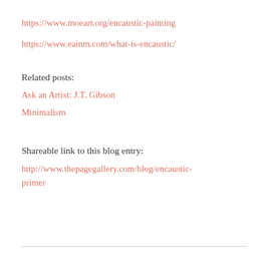https://www.moeart.org/encaustic-painting
https://www.eainm.com/what-is-encaustic/
Related posts:
Ask an Artist: J.T. Gibson
Minimalism
Shareable link to this blog entry:
http://www.thepagegallery.com/blog/encaustic-primer